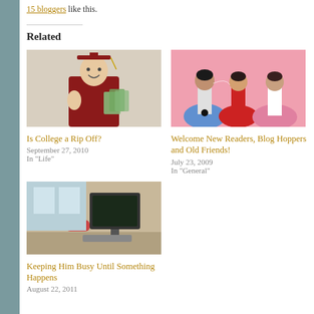15 bloggers like this.
Related
[Figure (photo): Graduate in red cap and gown holding money with thumbs up]
Is College a Rip Off?
September 27, 2010
In "Life"
[Figure (photo): Three women in 1950s style poodle skirts on pink background, appearing to gossip]
Welcome New Readers, Blog Hoppers and Old Friends!
July 23, 2009
In "General"
[Figure (photo): Person sitting at a computer desk with headset on]
Keeping Him Busy Until Something Happens
August 22, 2011